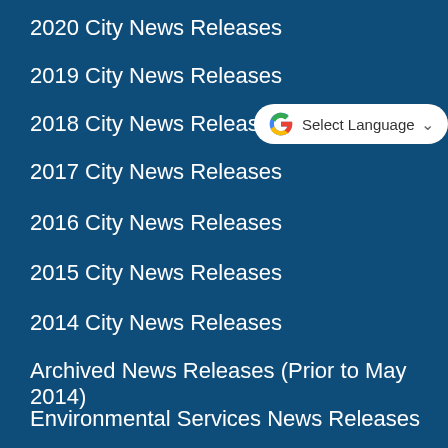2020 City News Releases
2019 City News Releases
2018 City News Releases
2017 City News Releases
2016 City News Releases
2015 City News Releases
2014 City News Releases
Archived News Releases (Prior to May 2014)
Environmental Services News Releases